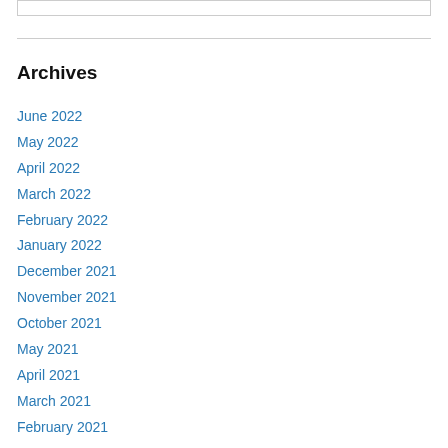Archives
June 2022
May 2022
April 2022
March 2022
February 2022
January 2022
December 2021
November 2021
October 2021
May 2021
April 2021
March 2021
February 2021
January 2021
December 2020